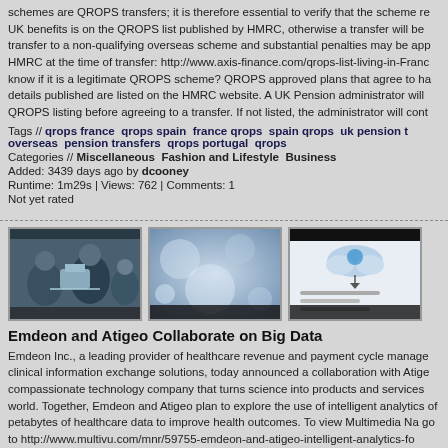schemes are QROPS transfers; it is therefore essential to verify that the scheme re UK benefits is on the QROPS list published by HMRC, otherwise a transfer will be transfer to a non-qualifying overseas scheme and substantial penalties may be app HMRC at the time of transfer: http://www.axis-finance.com/qrops-list-living-in-Franc know if it is a legitimate QROPS scheme? QROPS approved plans that agree to ha details published are listed on the HMRC website. A UK Pension administrator will QROPS listing before agreeing to a transfer. If not listed, the administrator will cont
Tags // qrops france qrops spain france qrops spain qrops uk pension t overseas pension transfers qrops portugal qrops
Categories // Miscellaneous Fashion and Lifestyle Business
Added: 3439 days ago by dcooney
Runtime: 1m29s | Views: 762 | Comments: 1
Not yet rated
[Figure (photo): Three thumbnail images side by side: 1) Medical/surgical scene with people in scrubs around equipment, 2) Blurry close-up of what appears to be a car or object with bokeh, 3) Cloud computing diagram/infographic with text lines]
Emdeon and Atigeo Collaborate on Big Data
Emdeon Inc., a leading provider of healthcare revenue and payment cycle manage clinical information exchange solutions, today announced a collaboration with Atige compassionate technology company that turns science into products and services world. Together, Emdeon and Atigeo plan to explore the use of intelligent analytics of petabytes of healthcare data to improve health outcomes. To view Multimedia Na go to http://www.multivu.com/mnr/59755-emdeon-and-atigeo-intelligent-analytics-fo outcomes-himss13
Tags // emdeon atigeo big data ytics patient care payment revenue mana information exchange healthcare consulting 59755